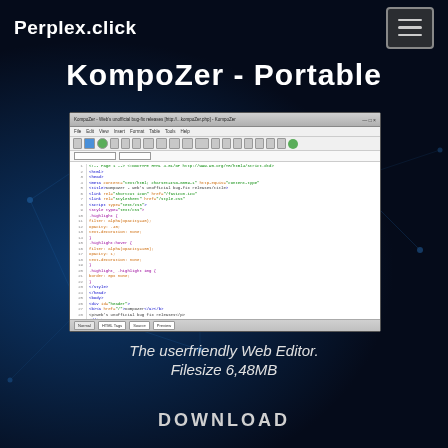Perplex.click
KompoZer - Portable
[Figure (screenshot): Screenshot of KompoZer web editor showing HTML source code editor with line numbers and colored syntax highlighting]
The userfriendly Web Editor.
Filesize 6,48MB
DOWNLOAD